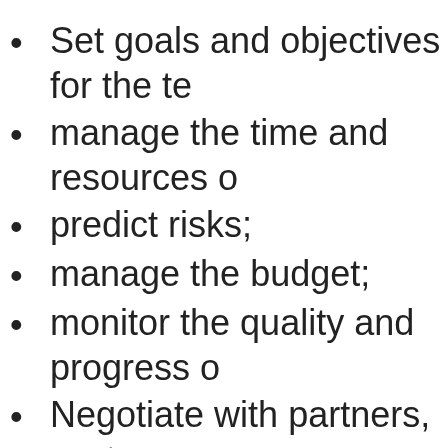Set goals and objectives for the te
manage the time and resources o
predict risks;
manage the budget;
monitor the quality and progress o
Negotiate with partners, custome media.
A project manager needs to develop p leadership skills to communicate with and motivate employees.